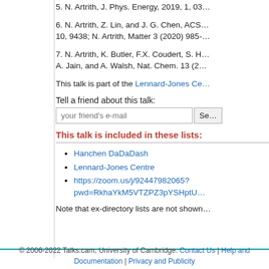5. N. Artrith, J. Phys. Energy, 2019, 1, 03...
6. N. Artrith, Z. Lin, and J. G. Chen, ACS... 10, 9438; N. Artrith, Matter 3 (2020) 985-...
7. N. Artrith, K. Butler, F.X. Coudert, S. H... A. Jain, and A. Walsh, Nat. Chem. 13 (2...
This talk is part of the Lennard-Jones Ce...
Tell a friend about this talk:
This talk is included in these lists:
Hanchen DaDaDash
Lennard-Jones Centre
https://zoom.us/j/92447982065?pwd=RkhaYkM5VTZPZ3pYSHptU...
Note that ex-directory lists are not shown...
© 2006-2022 Talks.cam, University of Cambridge. Contact Us | Help and Documentation | Privacy and Publicity